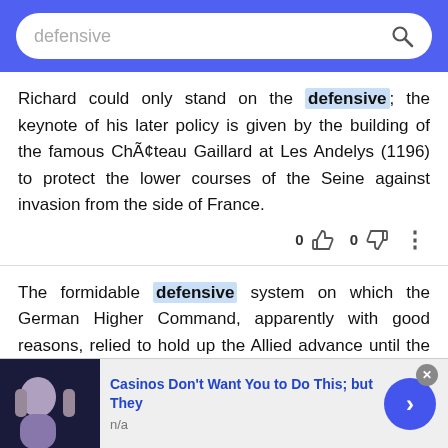defensive
Richard could only stand on the defensive; the keynote of his later policy is given by the building of the famous Château Gaillard at Les Andelys (1196) to protect the lower courses of the Seine against invasion from the side of France.
The formidable defensive system on which the German Higher Command, apparently with good reasons, relied to hold up the Allied advance until the winter should give pause to active operations and secure for their hard-driven troops and weary-worn people a little respite from their trials
Casinos Don't Want You to Do This; but They
n/a